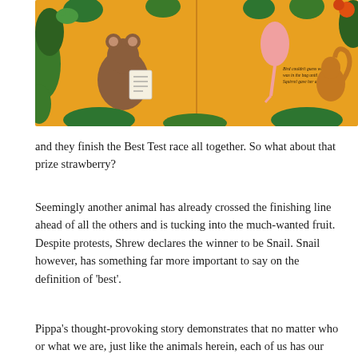[Figure (photo): A children's book spread showing illustrated animals on an orange/yellow background. A mouse holds a note card on the left page; on the right page there is text reading 'Bird couldn't guess what was in the bag until Squirrel gave her a clue.' Various colorful animals and foliage are visible around the edges.]
and they finish the Best Test race all together. So what about that prize strawberry?
Seemingly another animal has already crossed the finishing line ahead of all the others and is tucking into the much-wanted fruit. Despite protests, Shrew declares the winner to be Snail. Snail however, has something far more important to say on the definition of 'best'.
Pippa's thought-provoking story demonstrates that no matter who or what we are, just like the animals herein, each of us has our own particular aptitude. That's life